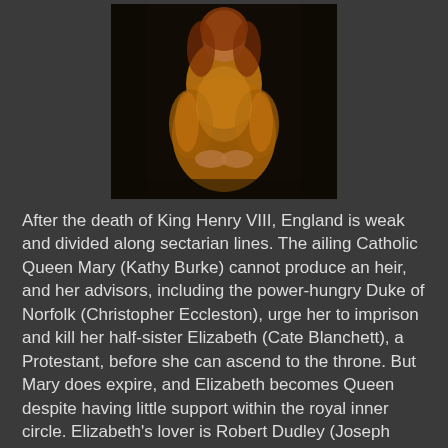[Figure (photo): A woman in a golden/orange dress posed against a dark background, likely a film still or promotional photo]
After the death of King Henry VIII, England is weak and divided along sectarian lines. The ailing Catholic Queen Mary (Kathy Burke) cannot produce an heir, and her advisors, including the power-hungry Duke of Norfolk (Christopher Eccleston), urge her to imprison and kill her half-sister Elizabeth (Cate Blanchett), a Protestant, before she can ascend to the throne. But Mary does expire, and Elizabeth becomes Queen despite having little support within the royal inner circle. Elizabeth's lover is Robert Dudley (Joseph Fiennes), but Court advisor William Cecil (Richard Attenborough) insists that she must marry into European royalty.
In addition to Norfolk, many forces plot to take advantage of the young and inexperienced new Queen. Mary Queen of Scot and her mother Mary of Guise (Fanny Ardant), with the